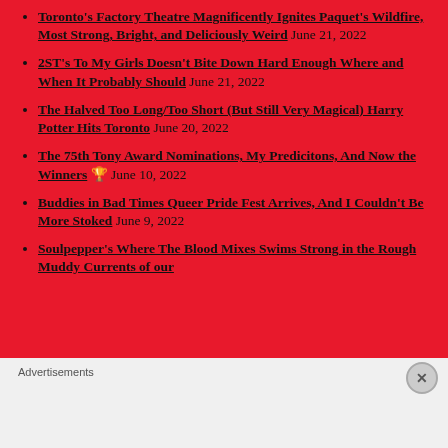Toronto's Factory Theatre Magnificently Ignites Paquet's Wildfire, Most Strong, Bright, and Deliciously Weird June 21, 2022
2ST's To My Girls Doesn't Bite Down Hard Enough Where and When It Probably Should June 21, 2022
The Halved Too Long/Too Short (But Still Very Magical) Harry Potter Hits Toronto June 20, 2022
The 75th Tony Award Nominations, My Predicitons, And Now the Winners 🏆 June 10, 2022
Buddies in Bad Times Queer Pride Fest Arrives, And I Couldn't Be More Stoked June 9, 2022
Soulpepper's Where The Blood Mixes Swims Strong in the Rough Muddy Currents of our
Advertisements